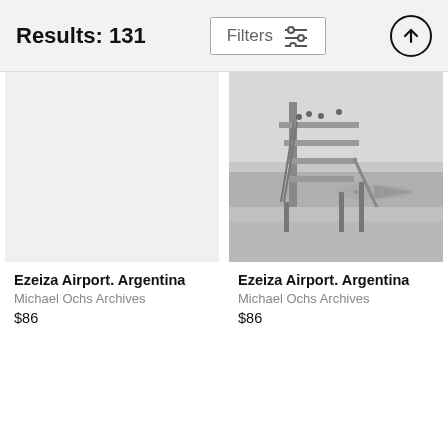Results: 131
Filters
[Figure (photo): Black and white photograph of Ezeiza Airport Argentina showing a control tower structure with people on platforms and an airplane visible in the background near water]
Ezeiza Airport. Argentina
Michael Ochs Archives
$86
Ezeiza Airport. Argentina
Michael Ochs Archives
$86